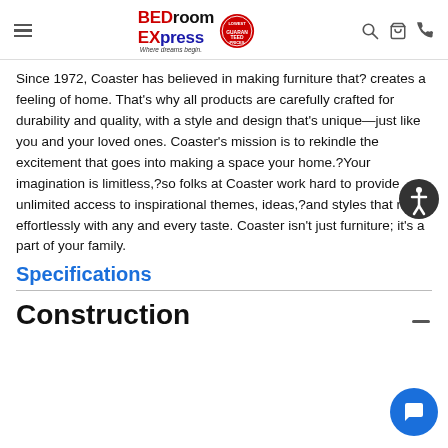BEDroom EXpress — Where dreams begin. Navigation header with logo, search, cart, and phone icons.
Since 1972, Coaster has believed in making furniture that? creates a feeling of home. That’s why all products are carefully crafted for durability and quality, with a style and design that’s unique—just like you and your loved ones. Coaster’s mission is to rekindle the excitement that goes into making a space your home.?Your imagination is limitless,?so folks at Coaster work hard to provide unlimited access to inspirational themes, ideas,?and styles that meld effortlessly with any and every taste. Coaster isn't just furniture; it’s a part of your family.
Specifications
Construction